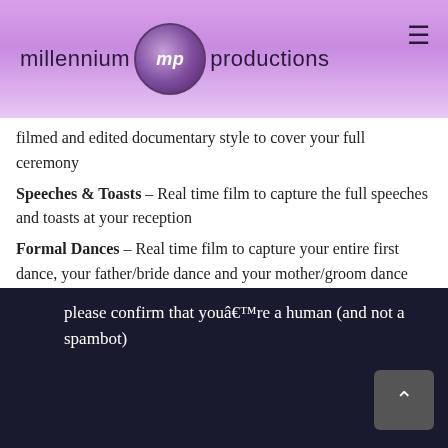millennium mp productions
filmed and edited documentary style to cover your full ceremony
Speeches & Toasts – Real time film to capture the full speeches and toasts at your reception
Formal Dances – Real time film to capture your entire first dance, your father/bride dance and your mother/groom dance
Reception Introductions – Real time film to capture the wedding party introductions at your reception
please confirm that youâ€™re a human (and not a spambot)